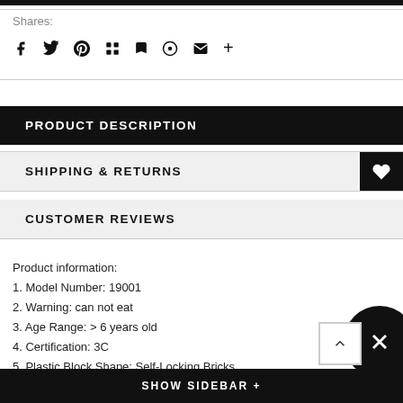Shares:
[Figure (other): Social share icons: facebook, twitter, pinterest, grid/apps, bookmark, location pin, email, plus]
PRODUCT DESCRIPTION
SHIPPING & RETURNS
CUSTOMER REVIEWS
Product information:
1. Model Number: 19001
2. Warning: can not eat
3. Age Range: > 6 years old
4. Certification: 3C
5. Plastic Block Shape: Self-Locking Bricks
6. Material: Plastic
7. Plastic Type: ABS
SHOW SIDEBAR +